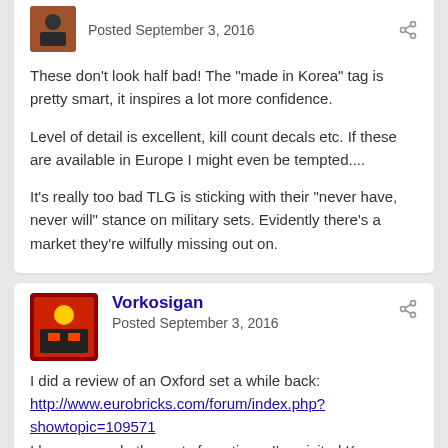Posted September 3, 2016
These don't look half bad! The "made in Korea" tag is pretty smart, it inspires a lot more confidence.
Level of detail is excellent, kill count decals etc. If these are available in Europe I might even be tempted....
It's really too bad TLG is sticking with their "never have, never will" stance on military sets. Evidently there's a market they're wilfully missing out on.
Vorkosigan
Posted September 3, 2016
I did a review of an Oxford set a while back:
http://www.eurobricks.com/forum/index.php?showtopic=109571
I have several other sets from times I've visited Korea, and the quality of the plastic is quite good, and the stickers are decent. Printing is not great, depends on the complexity. Weapons do come on sprues but are otherwise good quality. Clutch power is as good as LEGO. And the builds tend to be very solid, they...